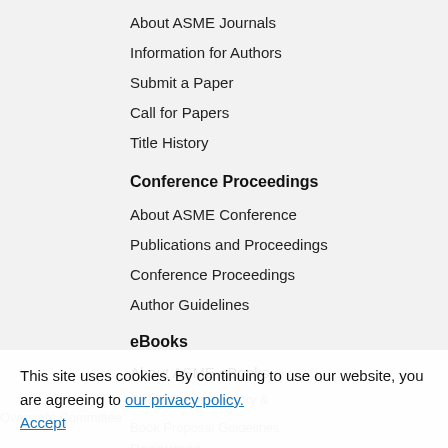About ASME Journals
Information for Authors
Submit a Paper
Call for Papers
Title History
Conference Proceedings
About ASME Conference
Publications and Proceedings
Conference Proceedings
Author Guidelines
eBooks
About ASME eBooks
ASME Press Advisory & Oversight Committee
Book Proposal Guidelines
Resources
This site uses cookies. By continuing to use our website, you are agreeing to our privacy policy. Accept